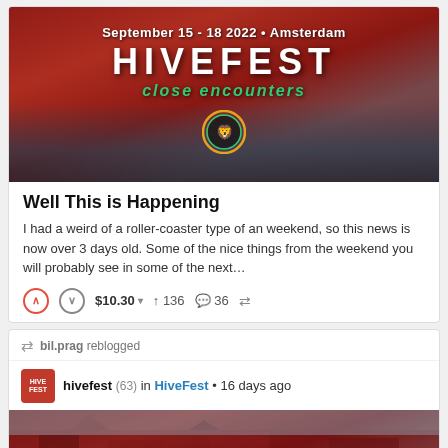[Figure (photo): HiveFest promotional banner with Amsterdam canal background, text 'September 15 - 18 2022 • Amsterdam', 'HIVEFEST', 'close encounters', and Hive lion logo]
Well This is Happening
I had a weird of a roller-coaster type of an weekend, so this news is now over 3 days old. Some of the nice things from the weekend you will probably see in some of the next…
$10.30  136  36
bil.prag reblogged
hivefest (63) in HiveFest • 16 days ago
[Figure (photo): HiveFest Amsterdam promotional image, partially visible at bottom of page]